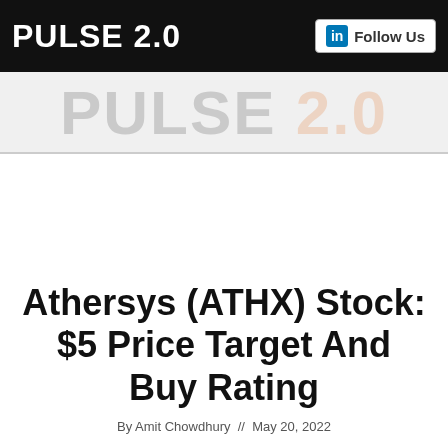PULSE 2.0  Follow Us
[Figure (logo): Pulse 2.0 watermark logo in large faded text, grey and orange colors]
Athersys (ATHX) Stock: $5 Price Target And Buy Rating
By Amit Chowdhury  May 20, 2022